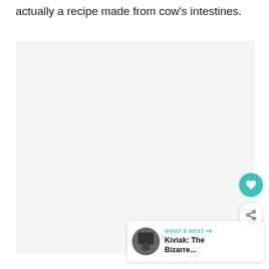actually a recipe made from cow's intestines.
[Figure (photo): Large light gray placeholder image area]
[Figure (illustration): Teal circular heart/favorite button]
[Figure (illustration): White circular share button with share icon]
WHAT'S NEXT → Kiviak: The Bizarre...